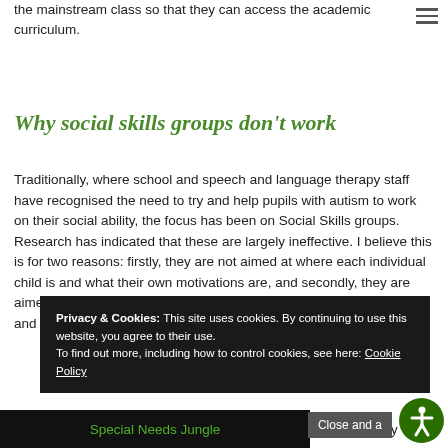the mainstream class so that they can access the academic curriculum.
Why social skills groups don't work
Traditionally, where school and speech and language therapy staff have recognised the need to try and help pupils with autism to work on their social ability, the focus has been on Social Skills groups. Research has indicated that these are largely ineffective. I believe this is for two reasons: firstly, they are not aimed at where each individual child is and what their own motivations are, and secondly, they are aimed at teaching skills rather than teaching to understand situations and the context around them, which is what is really re...
Privacy & Cookies: This site uses cookies. By continuing to use this website, you agree to their use. To find out more, including how to control cookies, see here: Cookie Policy
Close and a...
Special Needs Jungle
re there is already